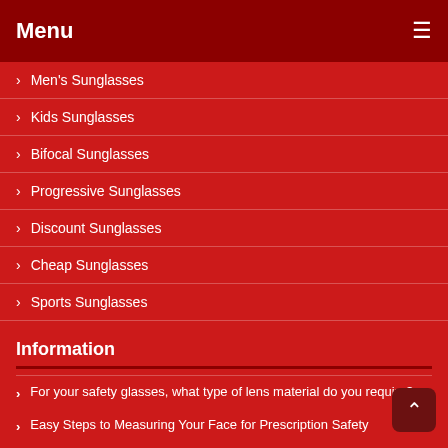Menu
Men's Sunglasses
Kids Sunglasses
Bifocal Sunglasses
Progressive Sunglasses
Discount Sunglasses
Cheap Sunglasses
Sports Sunglasses
Information
For your safety glasses, what type of lens material do you require?
Easy Steps to Measuring Your Face for Prescription Safety